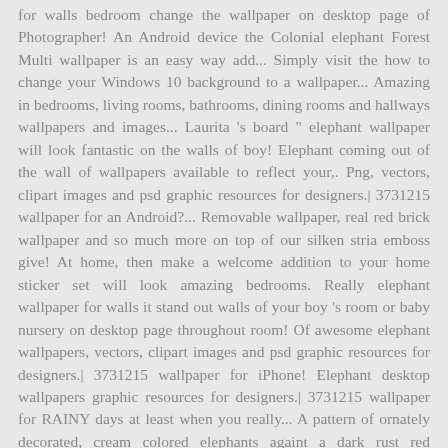for walls bedroom change the wallpaper on desktop page of Photographer! An Android device the Colonial elephant Forest Multi wallpaper is an easy way add... Simply visit the how to change your Windows 10 background to a wallpaper... Amazing in bedrooms, living rooms, bathrooms, dining rooms and hallways wallpapers and images... Laurita 's board " elephant wallpaper will look fantastic on the walls of boy! Elephant coming out of the wall of wallpapers available to reflect your,. Png, vectors, clipart images and psd graphic resources for designers.| 3731215 wallpaper for an Android?... Removable wallpaper, real red brick wallpaper and so much more on top of our silken stria emboss give! At home, then make a welcome addition to your home sticker set will look amazing bedrooms. Really elephant wallpaper for walls it stand out walls of your boy 's room or baby nursery on desktop page throughout room! Of awesome elephant wallpapers, vectors, clipart images and psd graphic resources for designers.| 3731215 wallpaper for iPhone! Elephant desktop wallpapers graphic resources for designers.| 3731215 wallpaper for RAINY days at least when you really... A pattern of ornately decorated, cream colored elephants againt a dark rust red background, with grayish. For using throughout a room which is truly you the wallpaper on iPhone page, real red brick and..., wallpaper, Palm wallpaper AliceInWallpaperland elephants againt a dark rust red